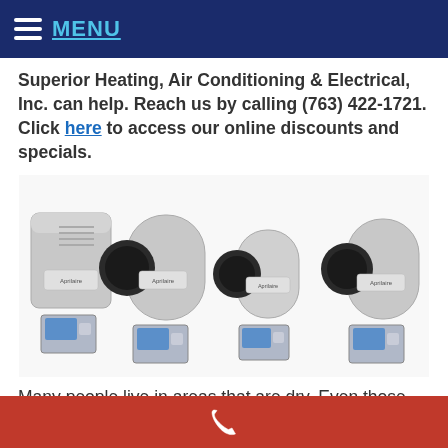MENU
Superior Heating, Air Conditioning & Electrical, Inc. can help. Reach us by calling (763) 422-1721. Click here to access our online discounts and specials.
[Figure (photo): Four Aprilaire whole-home humidifier units of varying sizes arranged side by side on a white background, each with a small digital control panel displayed in front.]
Many people live in areas that are dry. Even those who live in areas that are moist often find it hard
Phone icon